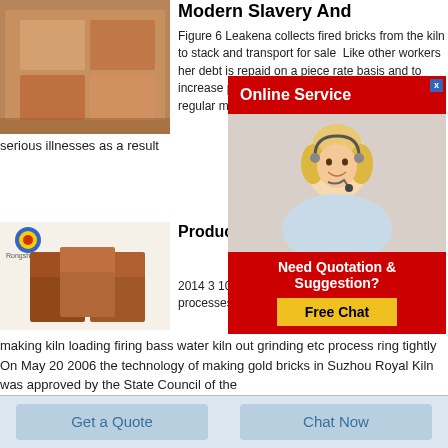[Figure (photo): Photo of fired orange/brown bricks stacked]
Modern Slavery And
Figure 6 Leakena collects fired bricks from the kiln to stack and transport for sale  Like other workers her debt is repaid on a piece rate basis and to increase production fire of the kiln before being regular migraines nose serious illnesses as a result
[Figure (photo): Photo of brown/terracotta fired kiln bricks with Rongsheng logo]
Production Tech Bricks in Suzhou
2014 3 10 Royal kiln br is complex up to 20 pro processes of mud selec making kiln loading firing bass water kiln out grinding etc process ring tightly On May 20 2006 the technology of making gold bricks in Suzhou Royal Kiln was approved by the State Council of the
[Figure (infographic): Online Service advertisement overlay with woman wearing headset, red header, Need Quotation & Suggestion?, Free Chat button]
Get a Quote
Chat Now